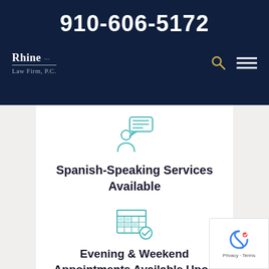910-606-5172
[Figure (logo): Rhine Law Firm, P.C. logo in white text on dark navy background]
[Figure (illustration): Teal outline icon of a person speaking with a speech bubble]
Spanish-Speaking Services Available
[Figure (illustration): Teal outline icon of a calendar with a checkmark]
Evening & Weekend Appointments Available Upon Request